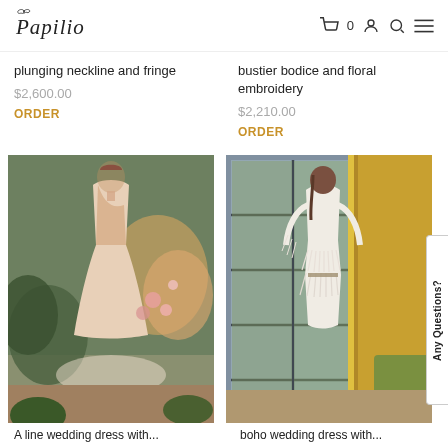Papilio | Cart 0 | Account | Search | Menu
plunging neckline and fringe
$2,600.00
ORDER
bustier bodice and floral embroidery
$2,210.00
ORDER
[Figure (photo): Woman in a blush pink floral lace A-line wedding gown standing in a garden setting with flowers]
[Figure (photo): Woman in a white fringe layered wedding dress standing in front of large windows with yellow decor]
Any Questions?
A line wedding dress with...
boho wedding dress with...